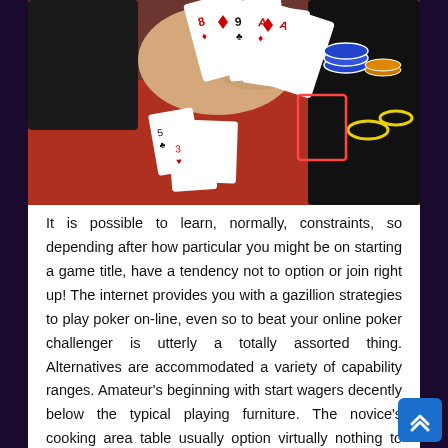[Figure (photo): Close-up photo of hands holding playing cards (8, 9 of diamonds, Ace) over an orange poker table with poker chips and other cards spread on the table surface.]
It is possible to learn, normally, constraints, so depending after how particular you might be on starting a game title, have a tendency not to option or join right up! The internet provides you with a gazillion strategies to play poker on-line, even so to beat your online poker challenger is utterly a totally assorted thing. Alternatives are accommodated a variety of capability ranges. Amateur's beginning with start wagers decently below the typical playing furniture. The novice's cooking area table usually option virtually nothing to some unimportant passing charge to get started on takes part in. An addition appreciates elective demands partaking by two game titles